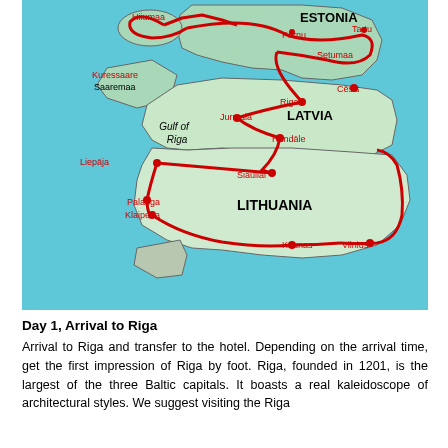[Figure (map): Map of the Baltic states (Estonia, Latvia, Lithuania) with a red travel route drawn connecting cities: Hiiumaa, Pärnu, Tartu, Setumaa, Kuressaare/Saaremaa, Cēsis, Riga, Jurmala, Rundāle, Liepāja, Šiauliai, Palanga, Klaipėda, Kaunas, Vilnius. Countries labeled in bold: ESTONIA, LATVIA, LITHUANIA. Geographic feature labeled: Gulf of Riga.]
Day 1, Arrival to Riga
Arrival to Riga and transfer to the hotel. Depending on the arrival time, get the first impression of Riga by foot. Riga, founded in 1201, is the largest of the three Baltic capitals. It boasts a real kaleidoscope of architectural styles. We suggest visiting the Riga